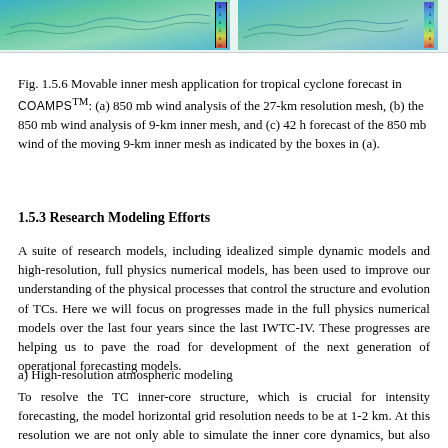[Figure (photo): Two side-by-side meteorological map images showing tropical cyclone wind analysis fields with color shading and a color bar on the right side of each image.]
Fig. 1.5.6 Movable inner mesh application for tropical cyclone forecast in COAMPSTM: (a) 850 mb wind analysis of the 27-km resolution mesh, (b) the 850 mb wind analysis of 9-km inner mesh, and (c) 42 h forecast of the 850 mb wind of the moving 9-km inner mesh as indicated by the boxes in (a).
1.5.3 Research Modeling Efforts
A suite of research models, including idealized simple dynamic models and high-resolution, full physics numerical models, has been used to improve our understanding of the physical processes that control the structure and evolution of TCs. Here we will focus on progresses made in the full physics numerical models over the last four years since the last IWTC-IV. These progresses are helping us to pave the road for development of the next generation of operational forecasting models.
a) High-resolution atmospheric modeling
To resolve the TC inner-core structure, which is crucial for intensity forecasting, the model horizontal grid resolution needs to be at 1-2 km. At this resolution we are not only able to simulate the inner core dynamics, but also explicitly resolve the convective processes that have been limited by cumulus parameterizations at lower resolutions in the past. Recent studies have also indicated that the